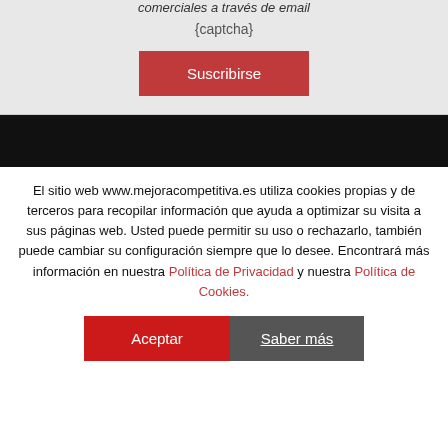comerciales a través de email
{captcha}
Suscribirse
El sitio web www.mejoracompetitiva.es utiliza cookies propias y de terceros para recopilar información que ayuda a optimizar su visita a sus páginas web. Usted puede permitir su uso o rechazarlo, también puede cambiar su configuración siempre que lo desee. Encontrará más información en nuestra Política de Privacidad y nuestra Política de Cookies.
Aceptar
Saber más